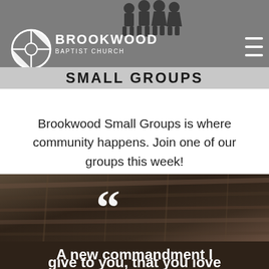[Figure (screenshot): Brookwood Baptist Church header with logo, people silhouettes, hamburger menu, and SMALL GROUPS title on grey background]
Brookwood Small Groups is where community happens. Join one of our groups this week!
LEARN MORE
[Figure (photo): Dark overhead photo of industrial/church ceiling with rafters and lights, overlaid with large quotation marks and beginning of quote text]
A new commandment I give to you, that you love